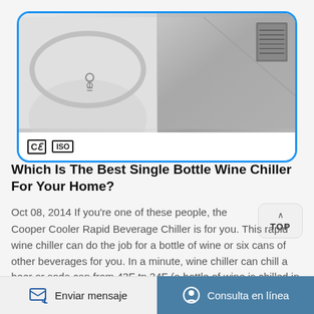[Figure (photo): Product card with blue border showing two detail photos of a wine chiller/cooler: left photo shows a lid or cover with a key/lock, right photo shows a metallic corner with a component. CE and ISO certification badges shown at bottom of card.]
Which Is The Best Single Bottle Wine Chiller For Your Home?
Oct 08, 2014 If you're one of these people, the Cooper Cooler Rapid Beverage Chiller is for you. This rapid wine chiller can do the job for a bottle of wine or six cans of other beverages for you. In a minute, wine chiller can chill a beer or soda can from 43F tp 34F (a bottle of wine is chilled in six minutes). Two ice trays of ice cubes, water ...
Enviar mensaje    Consulta en línea